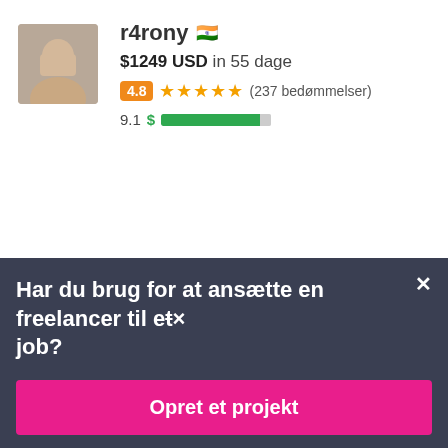[Figure (photo): Profile photo of freelancer r4rony, showing a man in a light shirt]
r4rony 🇮🇳
$1249 USD in 55 dage
4.8 ★★★★★ (237 bedømmelser)
9.1 $ ██████████
[Figure (photo): Profile photo of freelancer AzzkaNoor, showing a woman with a head covering]
AzzkaNoor 🇵🇰
Har du brug for at ansætte en freelancer til et job?
Opret et projekt